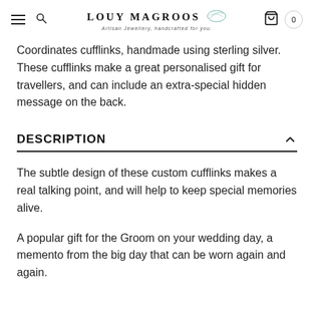LOUY MAGROOS – Artisan Jewellery, handcrafted for you. [Cart: 0]
Coordinates cufflinks, handmade using sterling silver. These cufflinks make a great personalised gift for travellers, and can include an extra-special hidden message on the back.
DESCRIPTION
The subtle design of these custom cufflinks makes a real talking point, and will help to keep special memories alive.
A popular gift for the Groom on your wedding day, a memento from the big day that can be worn again and again.